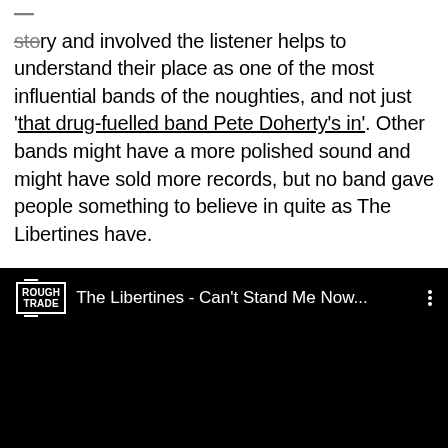dance around music that simultaneously told a story and involved the listener helps to understand their place as one of the most influential bands of the noughties, and not just 'that drug-fuelled band Pete Doherty's in'. Other bands might have a more polished sound and might have sold more records, but no band gave people something to believe in quite as The Libertines have.
[Figure (screenshot): Embedded YouTube video screenshot showing Rough Trade logo and title 'The Libertines - Can't Stand Me Now...' on black background]